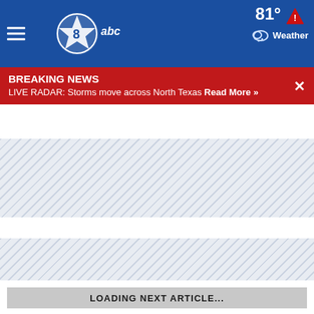WFAA ABC — 81° Weather
BREAKING NEWS — LIVE RADAR: Storms move across North Texas Read More »
[Figure (other): Hatched placeholder block (loading content area 1)]
[Figure (other): Hatched placeholder block (loading content area 2)]
LOADING NEXT ARTICLE...